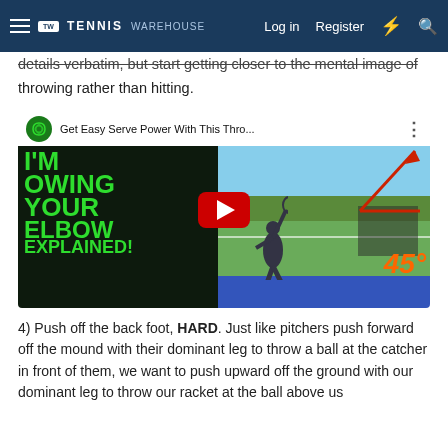Tennis Warehouse — Log in | Register
details verbatim, but start getting closer to the mental image of throwing rather than hitting.
[Figure (screenshot): YouTube video thumbnail for 'Get Easy Serve Power With This Thro...' showing a split image: left side has dark background with green text 'Throwing Your Elbow Explained!', right side shows a tennis player serving on a court with an orange '45°' angle annotation and arrow. A red YouTube play button is centered over the image.]
4) Push off the back foot, HARD. Just like pitchers push forward off the mound with their dominant leg to throw a ball at the catcher in front of them, we want to push upward off the ground with our dominant leg to throw our racket at the ball above us